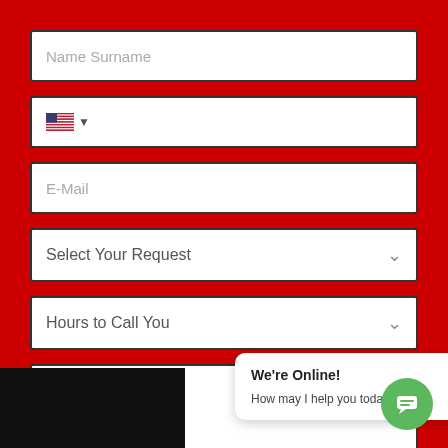[Figure (screenshot): Web contact form on a red background with fields: Name Surname, phone (US flag selector), E-Mail, Select Your Request dropdown, Hours to Call You dropdown, Message textarea, and a live chat popup saying 'We're Online! How may I help you today?' with a green chat icon.]